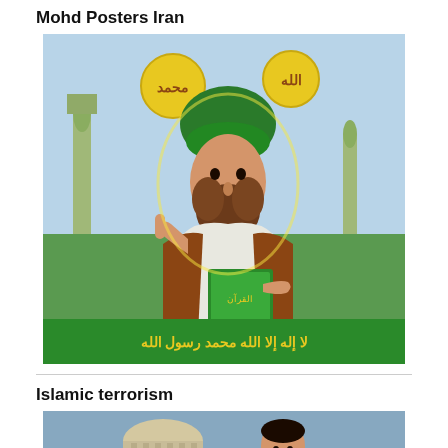Mohd Posters Iran
[Figure (illustration): Iranian poster depicting the Prophet Muhammad in green turban, holding the Quran, with Arabic calligraphy and mosque minarets in background. Yellow medallions with Arabic script at top.]
Islamic terrorism
[Figure (photo): Photo showing a man smiling in front of what appears to be the Supreme Court of India building with a dome and columns.]